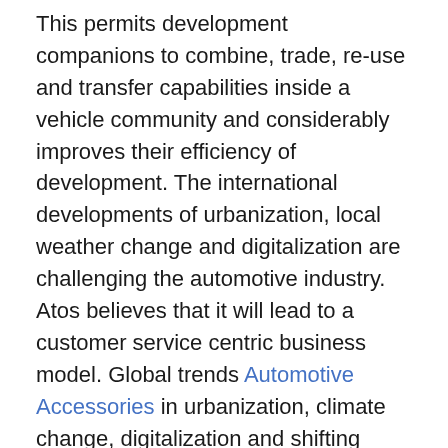This permits development companions to combine, trade, re-use and transfer capabilities inside a vehicle community and considerably improves their efficiency of development. The international developments of urbanization, local weather change and digitalization are challenging the automotive industry. Atos believes that it will lead to a customer service centric business model. Global trends Automotive Accessories in urbanization, climate change, digitalization and shifting financial power all pose important automotive business challenges. Every side of production, possession, on-road experience and environmental impression is disrupted by advances in digital know-how. You must know that you're working with an organisation that